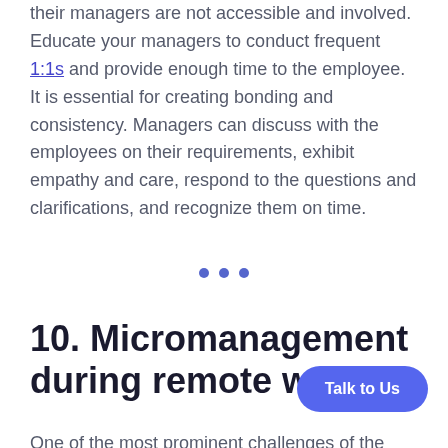their managers are not accessible and involved. Educate your managers to conduct frequent 1:1s and provide enough time to the employee. It is essential for creating bonding and consistency. Managers can discuss with the employees on their requirements, exhibit empathy and care, respond to the questions and clarifications, and recognize them on time.
10. Micromanagement during remote wo...
One of the most prominent challenges of the